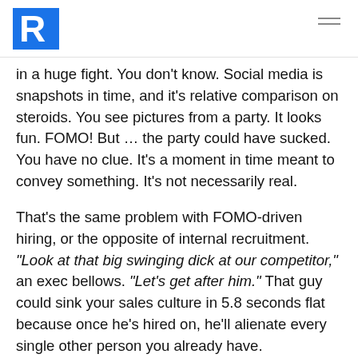R logo and navigation menu
in a huge fight. You don't know. Social media is snapshots in time, and it's relative comparison on steroids. You see pictures from a party. It looks fun. FOMO! But … the party could have sucked. You have no clue. It's a moment in time meant to convey something. It's not necessarily real.
That's the same problem with FOMO-driven hiring, or the opposite of internal recruitment. "Look at that big swinging dick at our competitor," an exec bellows. "Let's get after him." That guy could sink your sales culture in 5.8 seconds flat because once he's hired on, he'll alienate every single other person you already have.
Look: you will absolutely never know how a person